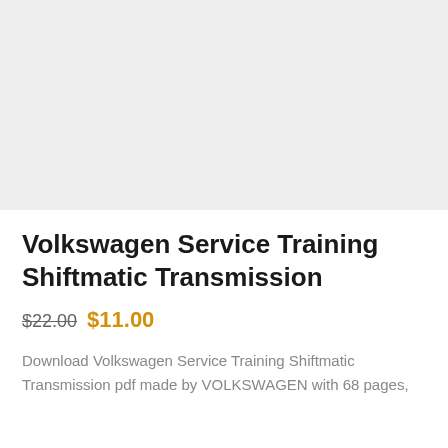[Figure (other): Gray placeholder image area representing a product thumbnail or document cover image]
Volkswagen Service Training Shiftmatic Transmission
$22.00 $11.00
Download Volkswagen Service Training Shiftmatic Transmission pdf made by VOLKSWAGEN with 68 pages,